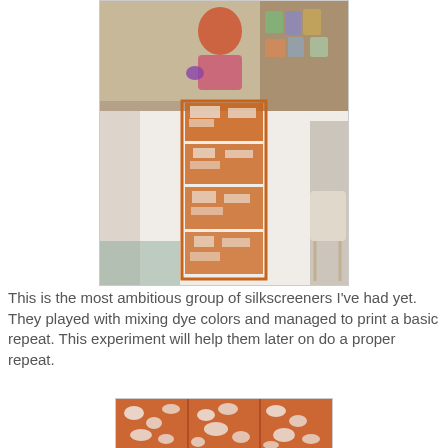[Figure (photo): A white fabric laid on a table with orange/golden dye print in a repeating rectangular pattern, inside a studio/workshop setting with supply shelves in the background and a person in a colorful top visible.]
This is the most ambitious group of silkscreeners I've had yet. They played with mixing dye colors and managed to print a basic repeat. This experiment will help them later on do a proper repeat.
[Figure (photo): Close-up of fabric panels printed with an orange/rust dye and white resist pattern showing a mottled floral or organic print, laid flat on a surface.]